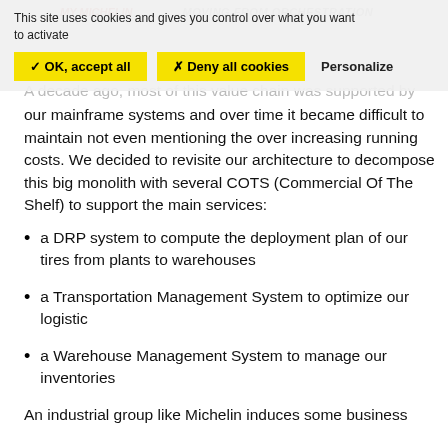MY MICHELIN   MOVING FROM ORCHESTRATION
This site uses cookies and gives you control over what you want to activate
✓ OK, accept all   ✗ Deny all cookies   Personalize
A decade ago, most of this value chain was supported by our mainframe systems and over time it became difficult to maintain not even mentioning the over increasing running costs. We decided to revisite our architecture to decompose this big monolith with several COTS (Commercial Of The Shelf) to support the main services:
a DRP system to compute the deployment plan of our tires from plants to warehouses
a Transportation Management System to optimize our logistic
a Warehouse Management System to manage our inventories
An industrial group like Michelin induces some business